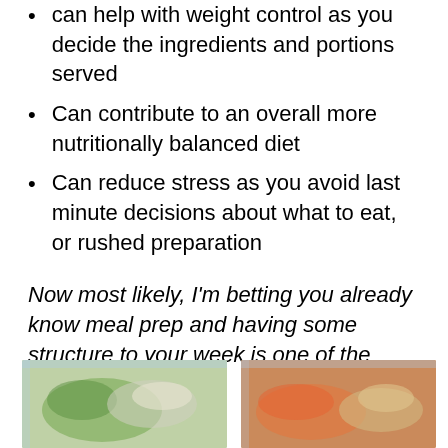can help with weight control as you decide the ingredients and portions served
Can contribute to an overall more nutritionally balanced diet
Can reduce stress as you avoid last minute decisions about what to eat, or rushed preparation
Now most likely, I'm betting you already know meal prep and having some structure to your week is one of the keys to weight loss.
Am I correct?
[Figure (photo): Two photos side by side showing meal prep containers with food — left shows a container with salad greens and grains, right shows a container with orange/red food and pasta or vegetables]